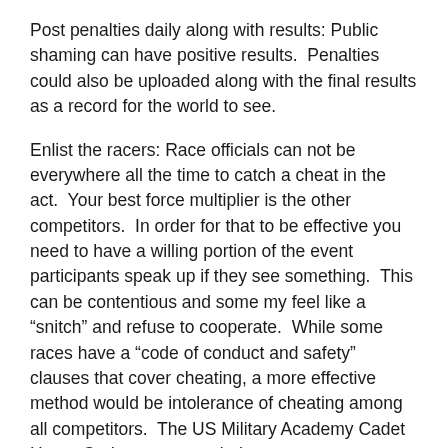Post penalties daily along with results: Public shaming can have positive results.  Penalties could also be uploaded along with the final results as a record for the world to see.
Enlist the racers: Race officials can not be everywhere all the time to catch a cheat in the act.  Your best force multiplier is the other competitors.  In order for that to be effective you need to have a willing portion of the event participants speak up if they see something.  This can be contentious and some my feel like a “snitch” and refuse to cooperate.  While some races have a “code of conduct and safety” clauses that cover cheating, a more effective method would be intolerance of cheating among all competitors.  The US Military Academy Cadet Honor Code comes to mind.
“A cadet will not lie, cheat, steal, or tolerate those